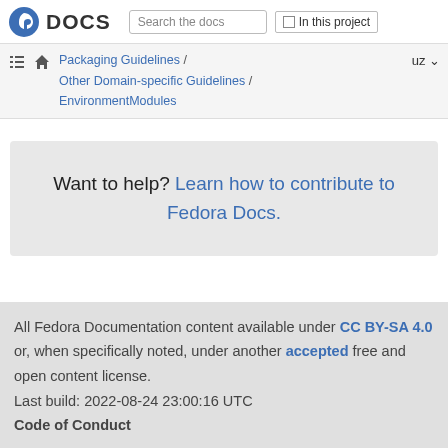Fedora DOCS — Search the docs — In this project
Packaging Guidelines / Other Domain-specific Guidelines / EnvironmentModules
Want to help? Learn how to contribute to Fedora Docs.
All Fedora Documentation content available under CC BY-SA 4.0 or, when specifically noted, under another accepted free and open content license. Last build: 2022-08-24 23:00:16 UTC Code of Conduct